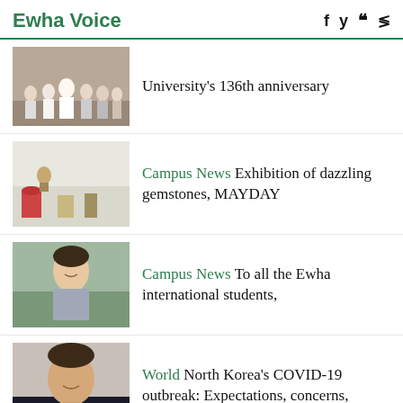Ewha Voice
[Figure (photo): Group of women in formal/choir attire on stage]
University's 136th anniversary
[Figure (photo): Person sitting on floor surrounded by art objects]
Campus News  Exhibition of dazzling gemstones, MAYDAY
[Figure (photo): Young woman smiling outdoors with trees in background]
Campus News  To all the Ewha international students,
[Figure (photo): Young man smiling, wearing suit and tie]
World  North Korea's COVID-19 outbreak: Expectations, concerns,